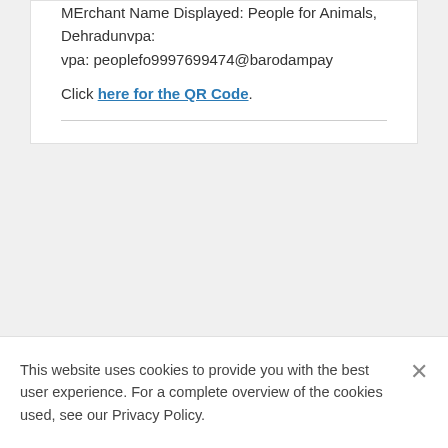MErchant Name Displayed: People for Animals, Dehradunvpa: vpa: peoplefo9997699474@barodampay
Click here for the QR Code.
This website uses cookies to provide you with the best user experience. For a complete overview of the cookies used, see our Privacy Policy.